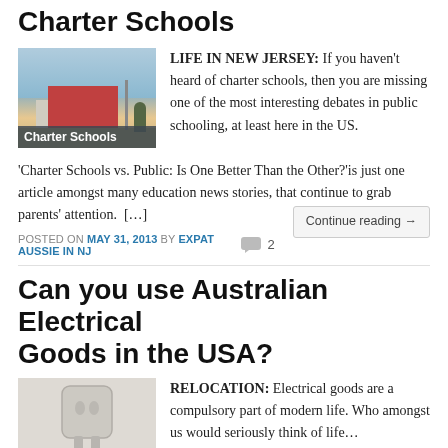Charter Schools
[Figure (photo): Photo of a school building with 'Charter Schools' label overlay]
LIFE IN NEW JERSEY: If you haven't heard of charter schools, then you are missing one of the most interesting debates in public schooling, at least here in the US. 'Charter Schools vs. Public: Is One Better Than the Other?'is just one article amongst many education news stories, that continue to grab parents' attention. […]
Continue reading →
POSTED ON MAY 31, 2013 BY EXPAT AUSSIE IN NJ   2
Can you use Australian Electrical Goods in the USA?
[Figure (photo): Photo of an electrical plug]
RELOCATION: Electrical goods are a compulsory part of modern life. Who amongst us would seriously think of life…